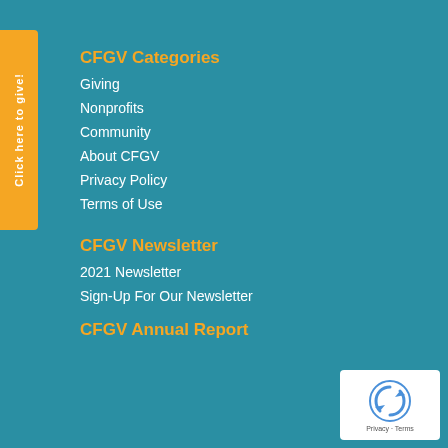Click here to give!
CFGV Categories
Giving
Nonprofits
Community
About CFGV
Privacy Policy
Terms of Use
CFGV Newsletter
2021 Newsletter
Sign-Up For Our Newsletter
CFGV Annual Report
[Figure (logo): Google reCAPTCHA badge with recycle-arrow icon and Privacy - Terms text]